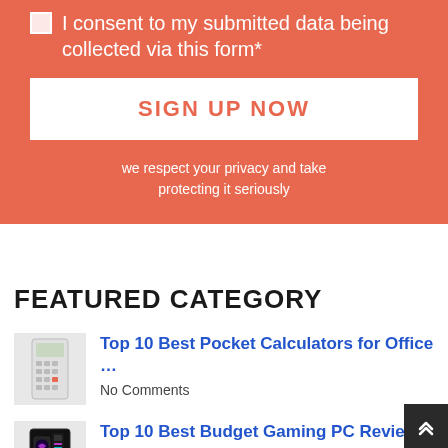I consent to my submitted data being collected via this form*
SIGN UP NOW
we respect your privacy and take protecting it seriously
FEATURED CATEGORY
[Figure (photo): Pocket calculator image]
Top 10 Best Pocket Calculators for Office …
No Comments
[Figure (photo): Gaming PC tower with RGB lighting]
Top 10 Best Budget Gaming PC Reviews
No Comments